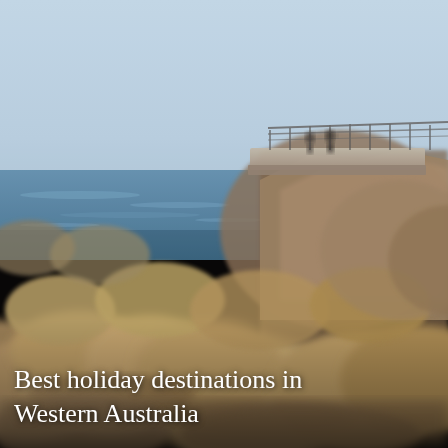[Figure (photo): A coastal landscape in Western Australia showing large granite boulders in the foreground, a rough ocean in the middle distance, and a concrete viewing platform cantilevered over a rocky cliff edge in the background. Two people stand on the platform looking out to sea. The sky is overcast and light blue-grey.]
Best holiday destinations in Western Australia